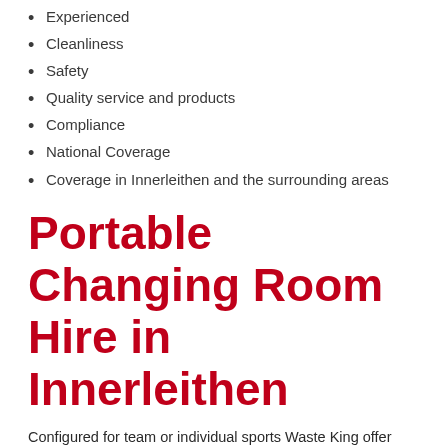Experienced
Cleanliness
Safety
Quality service and products
Compliance
National Coverage
Coverage in Innerleithen and the surrounding areas
Portable Changing Room Hire in Innerleithen
Configured for team or individual sports Waste King offer specially designed well-equipped portable changing rooms
Our Portaloo buildings are spacious and well equipped, ideal if you need to provide changing facilities at a park, leisure